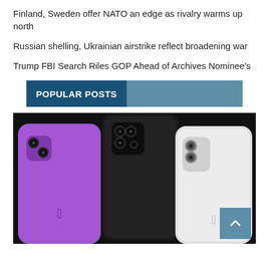Finland, Sweden offer NATO an edge as rivalry warms up north
Russian shelling, Ukrainian airstrike reflect broadening war
Trump FBI Search Riles GOP Ahead of Archives Nominee's
POPULAR POSTS
[Figure (photo): Three iPhones shown from the back — a purple iPhone 12 mini on the left, a black iPhone 12 Pro in the center, and a white iPhone 12 mini on the right, displayed against a dark background.]